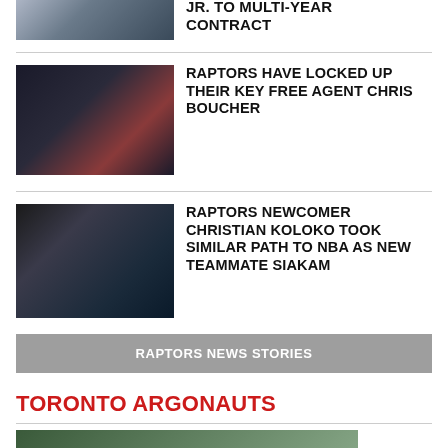[Figure (photo): Basketball players in game action, Warriors vs Celtics]
JR. TO MULTI-YEAR CONTRACT
[Figure (photo): Raptors player Chris Boucher dunking in white jersey]
RAPTORS HAVE LOCKED UP THEIR KEY FREE AGENT CHRIS BOUCHER
[Figure (photo): Raptors player Christian Koloko dunking at the basket]
RAPTORS NEWCOMER CHRISTIAN KOLOKO TOOK SIMILAR PATH TO NBA AS NEW TEAMMATE SIAKAM
RAPTORS NEWS STORIES
TORONTO ARGONAUTS
[Figure (photo): Football players in green uniforms]